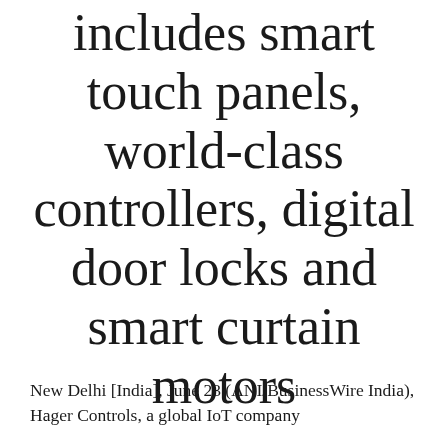includes smart touch panels, world-class controllers, digital door locks and smart curtain motors
New Delhi [India], June 23 (ANI/BusinessWire India), Hager Controls, a global IoT company